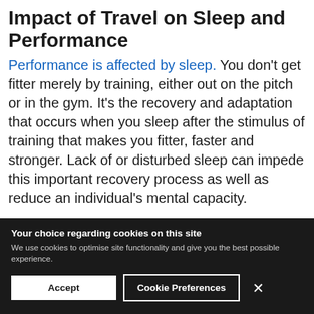Impact of Travel on Sleep and Performance
Performance is affected by sleep. You don’t get fitter merely by training, either out on the pitch or in the gym. It’s the recovery and adaptation that occurs when you sleep after the stimulus of training that makes you fitter, faster and stronger. Lack of or disturbed sleep can impede this important recovery process as well as reduce an individual’s mental capacity.
A study published in 2014 monitored the impact travelling 14,695km across 11 time zones had on players. Sleep duration
Your choice regarding cookies on this site
We use cookies to optimise site functionality and give you the best possible experience.
Accept  Cookie Preferences  ×